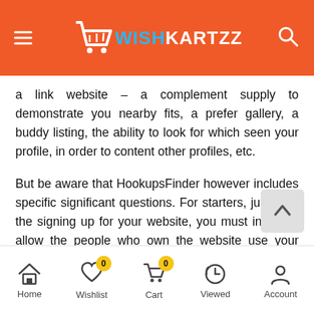WISHKARTZZ
a link website – a complement supply to demonstrate you nearby fits, a prefer gallery, a buddy listing, the ability to look for which seen your profile, in order to content other profiles, etc.
But be aware that HookupsFinder however includes specific significant questions. For starters, just from the signing up for your website, you must invest in allow the people who own the website use your reputation and your information that is personal for various almost every other relationship and hookups web sites which they individual.
Several other big negative 's the presence out-of loads automatic bots, that can deliver announcements as if they
Home  Wishlist 0  Cart 0  Viewed  Account